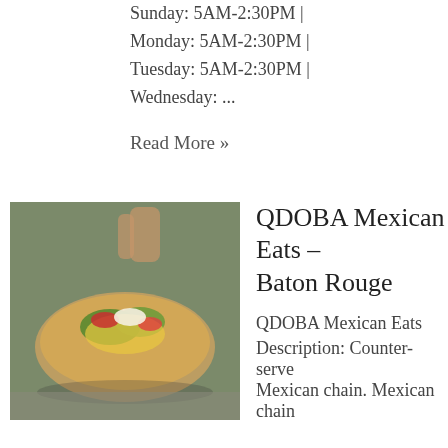Front Page Store Hours:
Sunday: 5AM-2:30PM |
Monday: 5AM-2:30PM |
Tuesday: 5AM-2:30PM |
Wednesday: ...
Read More »
[Figure (photo): Food photo showing nachos or Mexican dish being served in a bowl]
QDOBA Mexican Eats – Baton Rouge
QDOBA Mexican Eats
Description: Counter-serve Mexican chain. Mexican chain